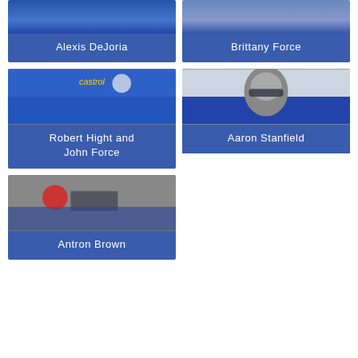[Figure (photo): Photo card of Alexis DeJoria with blue label overlay]
[Figure (photo): Photo card of Brittany Force with blue label overlay]
[Figure (photo): Photo card of Robert Hight and John Force with blue label overlay]
[Figure (photo): Photo card of Aaron Stanfield with blue label overlay]
[Figure (photo): Photo card of Antron Brown with blue label overlay]